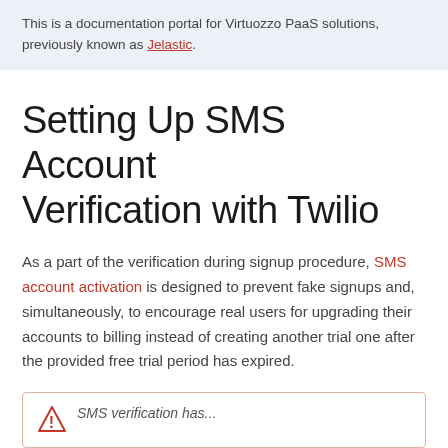This is a documentation portal for Virtuozzo PaaS solutions, previously known as Jelastic.
Setting Up SMS Account Verification with Twilio
As a part of the verification during signup procedure, SMS account activation is designed to prevent fake signups and, simultaneously, to encourage real users for upgrading their accounts to billing instead of creating another trial one after the provided free trial period has expired.
SMS verification has...